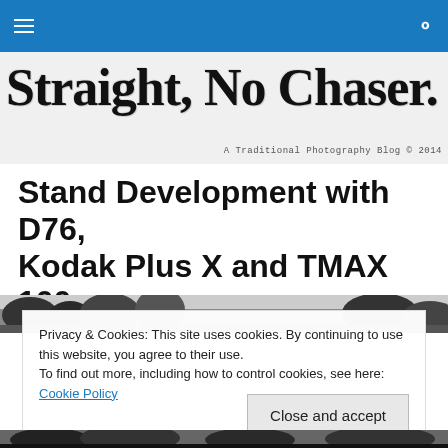Straight, No Chaser. — A Traditional Photography Blog © 2014
Stand Development with D76, Kodak Plus X and TMAX 100
[Figure (photo): Black and white photograph of trees against a bright sky, used as article header image]
Privacy & Cookies: This site uses cookies. By continuing to use this website, you agree to their use.
To find out more, including how to control cookies, see here: Cookie Policy
[Figure (photo): Black and white photograph of trees, bottom strip]